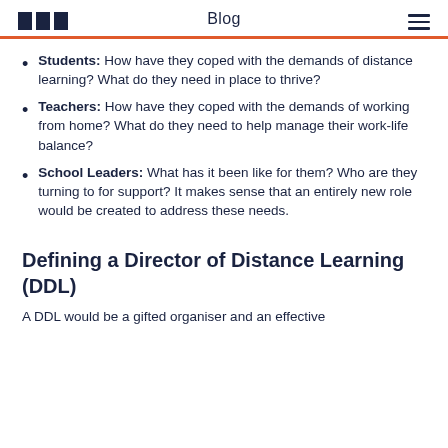Blog
Students: How have they coped with the demands of distance learning? What do they need in place to thrive?
Teachers: How have they coped with the demands of working from home? What do they need to help manage their work-life balance?
School Leaders: What has it been like for them? Who are they turning to for support? It makes sense that an entirely new role would be created to address these needs.
Defining a Director of Distance Learning (DDL)
A DDL would be a gifted organiser and an effective